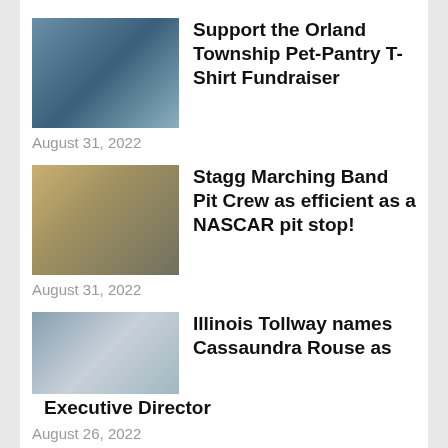[Figure (photo): Photo thumbnail for Pet-Pantry T-Shirt Fundraiser article]
Support the Orland Township Pet-Pantry T-Shirt Fundraiser
August 31, 2022
[Figure (photo): Photo thumbnail for Stagg Marching Band Pit Crew article]
Stagg Marching Band Pit Crew as efficient as a NASCAR pit stop!
August 31, 2022
[Figure (photo): Photo thumbnail for Illinois Tollway article showing trucks]
Illinois Tollway names Cassaundra Rouse as Executive Director
August 26, 2022
After mother’s death, girls find home with dad
August 26, 2022